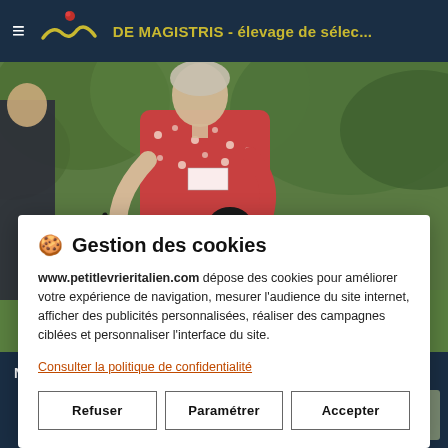≡  [logo]  DE MAGISTRIS - élevage de sélec...
[Figure (photo): Outdoor photo of a woman in a red floral dress holding a small black dog (Italian Greyhound) at what appears to be a dog show. Green trees in background. Another person in dark clothing visible on left.]
🍪 Gestion des cookies
www.petitlevrieritalien.com dépose des cookies pour améliorer votre expérience de navigation, mesurer l'audience du site internet, afficher des publicités personnalisées, réaliser des campagnes ciblées et personnaliser l'interface du site.
Consulter la politique de confidentialité
Refuser
Paramétrer
Accepter